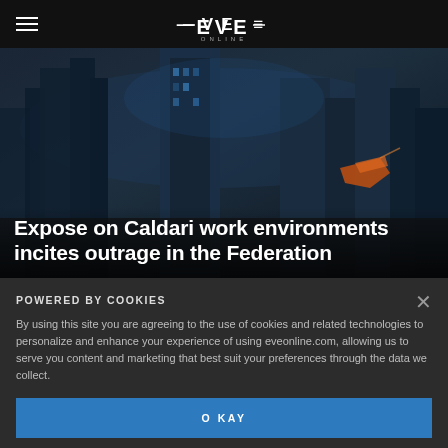EVE ONLINE
[Figure (screenshot): Sci-fi cityscape with futuristic buildings and a spacecraft, dark blue/teal color palette, EVE Online game imagery]
Expose on Caldari work environments incites outrage in the Federation
POWERED BY COOKIES
By using this site you are agreeing to the use of cookies and related technologies to personalize and enhance your experience of using eveonline.com, allowing us to serve you content and marketing that best suit your preferences through the data we collect.
OKAY